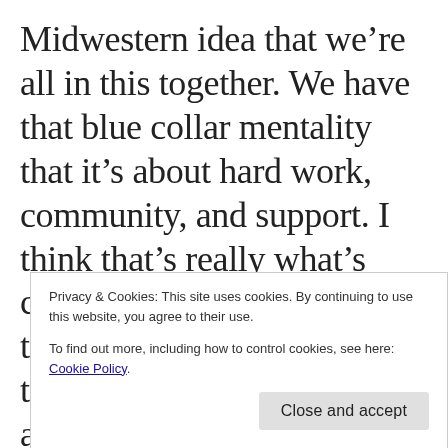Midwestern idea that we're all in this together. We have that blue collar mentality that it's about hard work, community, and support. I think that's really what's conducive to great art. I think we're a hidden treasure, that we're growing, and I love being involved in groups that
Privacy & Cookies: This site uses cookies. By continuing to use this website, you agree to their use.
To find out more, including how to control cookies, see here: Cookie Policy